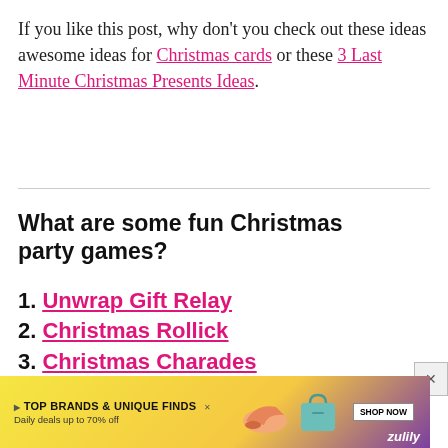If you like this post, why don't you check out these ideas awesome ideas for Christmas cards or these 3 Last Minute Christmas Presents Ideas.
What are some fun Christmas party games?
1. Unwrap Gift Relay
2. Christmas Rollick
3. Christmas Charades
4. S[faded]
5. C[faded]
[Figure (screenshot): Advertisement banner: TOP BRANDS & UNIQUE FINDS, Daily deals up to 70% off, Zulily, with shoe image and bag image, SHOP NOW button]